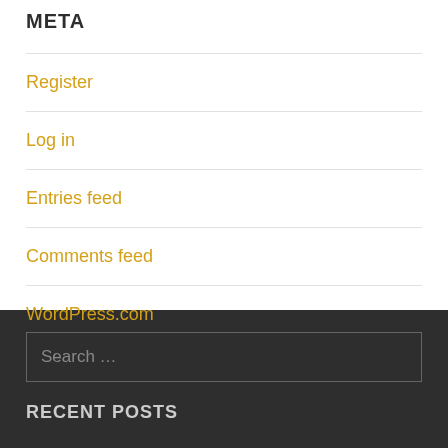META
Register
Log in
Entries feed
Comments feed
WordPress.com
Search …
RECENT POSTS